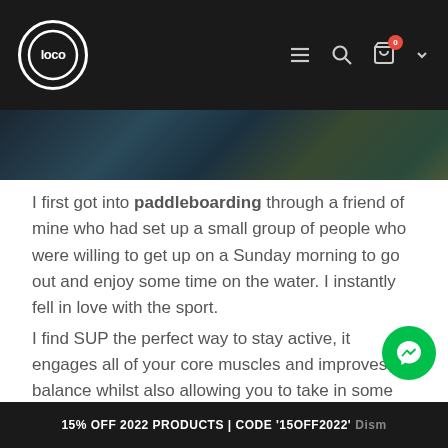Loco - navigation bar with logo, menu, search, cart (0)
[Figure (photo): Dark water/nature background hero image strip]
I first got into paddleboarding through a friend of mine who had set up a small group of people who were willing to get up on a Sunday morning to go out and enjoy some time on the water. I instantly fell in love with the sport.
I find SUP the perfect way to stay active, it engages all of your core muscles and improves balance whilst also allowing you to take in some beautiful scenery and explore new places.
15% OFF 2022 PRODUCTS | CODE '15OFF2022'  Dism...